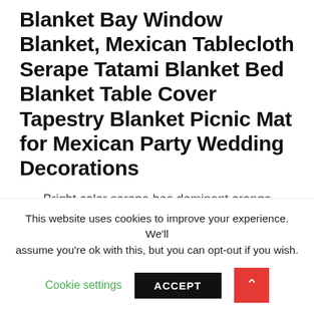Blanket Bay Window Blanket, Mexican Tablecloth Serape Tatami Blanket Bed Blanket Table Cover Tapestry Blanket Picnic Mat for Mexican Party Wedding Decorations
Bright color serape has dominant orange along with red/green/pnk
This blanket has orange/blu/green stripes
Authentic mexican saltillo sarapes blankets
This website uses cookies to improve your experience. We'll assume you're ok with this, but you can opt-out if you wish.
Cookie settings | ACCEPT